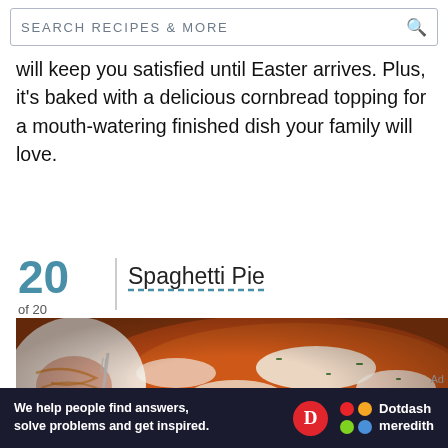SEARCH RECIPES & MORE
will keep you satisfied until Easter arrives. Plus, it's baked with a delicious cornbread topping for a mouth-watering finished dish your family will love.
20 of 20
Spaghetti Pie
[Figure (photo): A baked spaghetti pie with marinara sauce, melted cheese, and herbs, shown in a baking dish. A plated slice with a fork is visible on the left.]
We help people find answers, solve problems and get inspired.
Dotdash meredith